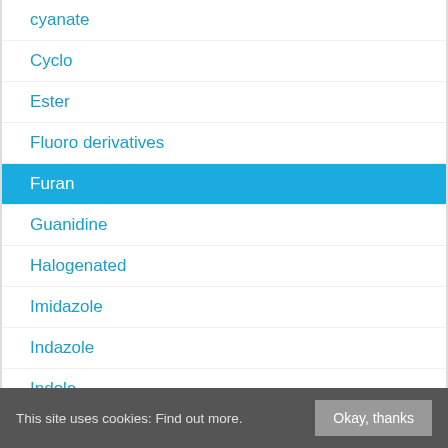cyanate
Cyclo
Ester
Fluoro derivatives
Furan
Guanidine
Halogenated
Imidazole
Indazole
Indole
isocyanate
isoquinoline
isothiocyanate
This site uses cookies: Find out more. Okay, thanks